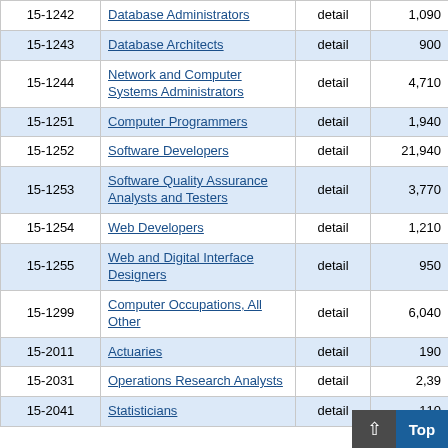| Code | Occupation | Level | Employment | ... |
| --- | --- | --- | --- | --- |
| 15-1242 | Database Administrators | detail | 1,090 | 8... |
| 15-1243 | Database Architects | detail | 900 | 26... |
| 15-1244 | Network and Computer Systems Administrators | detail | 4,710 | 5... |
| 15-1251 | Computer Programmers | detail | 1,940 | 12... |
| 15-1252 | Software Developers | detail | 21,940 | 4... |
| 15-1253 | Software Quality Assurance Analysts and Testers | detail | 3,770 | 7... |
| 15-1254 | Web Developers | detail | 1,210 | 17... |
| 15-1255 | Web and Digital Interface Designers | detail | 950 | 10... |
| 15-1299 | Computer Occupations, All Other | detail | 6,040 | 6... |
| 15-2011 | Actuaries | detail | 190 | 8... |
| 15-2031 | Operations Research Analysts | detail | 2,39... | ... |
| 15-2041 | Statisticians | detail | 110 | 15... |